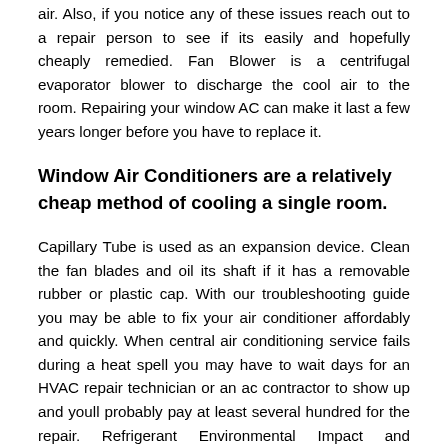air. Also, if you notice any of these issues reach out to a repair person to see if its easily and hopefully cheaply remedied. Fan Blower is a centrifugal evaporator blower to discharge the cool air to the room. Repairing your window AC can make it last a few years longer before you have to replace it.
Window Air Conditioners are a relatively cheap method of cooling a single room.
Capillary Tube is used as an expansion device. Clean the fan blades and oil its shaft if it has a removable rubber or plastic cap. With our troubleshooting guide you may be able to fix your air conditioner affordably and quickly. When central air conditioning service fails during a heat spell you may have to wait days for an HVAC repair technician or an ac contractor to show up and youll probably pay at least several hundred for the repair. Refrigerant Environmental Impact and Availability. The air